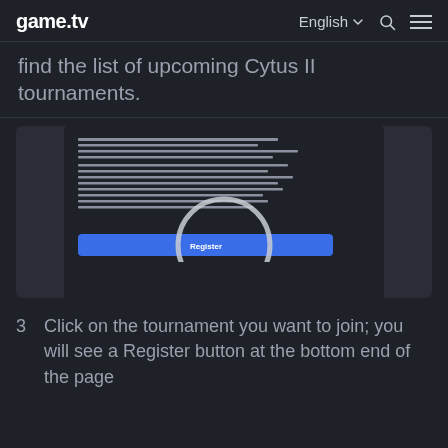game.tv  English  [search] [menu]
find the list of upcoming Cytus II tournaments.
[Figure (screenshot): Dark-themed game tournament registration screen showing rules text and a highlighted Register button at the bottom, with a circular magnifying highlight over the Register button.]
3  Click on the tournament you want to join; you will see a Register button at the bottom end of the page